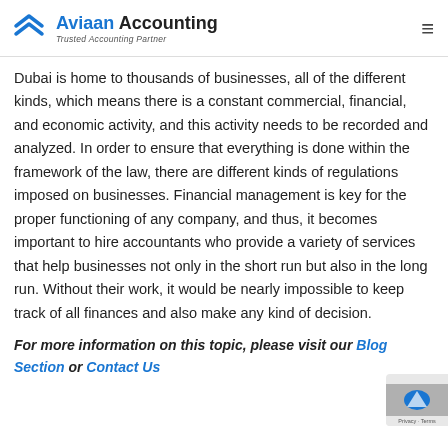Aviaan Accounting — Trusted Accounting Partner
Dubai is home to thousands of businesses, all of the different kinds, which means there is a constant commercial, financial, and economic activity, and this activity needs to be recorded and analyzed. In order to ensure that everything is done within the framework of the law, there are different kinds of regulations imposed on businesses. Financial management is key for the proper functioning of any company, and thus, it becomes important to hire accountants who provide a variety of services that help businesses not only in the short run but also in the long run. Without their work, it would be nearly impossible to keep track of all finances and also make any kind of decision.
For more information on this topic, please visit our Blog Section or Contact Us